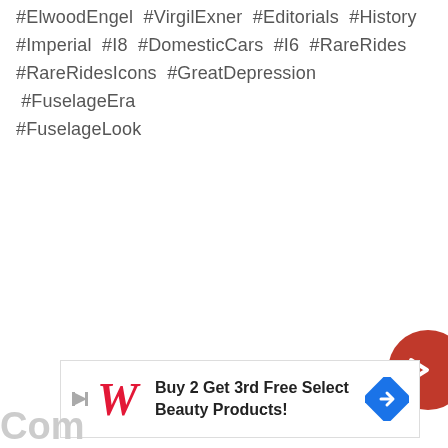#ElwoodEngel #VirgilExner #Editorials #History #Imperial #I8 #DomesticCars #I6 #RareRides #RareRidesIcons #GreatDepression #FuselageEra #FuselageLook
[Figure (other): Red circular navigation button with a right-pointing chevron arrow, partially visible on the right edge of the page]
[Figure (other): Walgreens advertisement banner: Buy 2 Get 3rd Free Select Beauty Products! with Walgreens W logo and blue diamond navigation icon]
Com